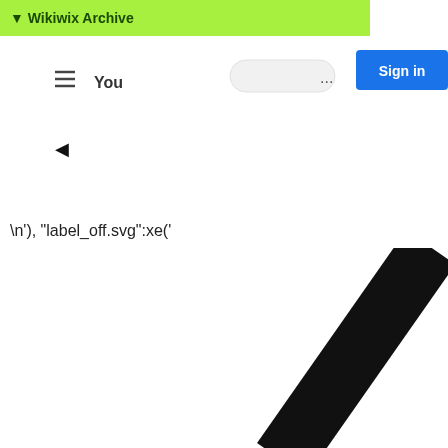▼ Wikiwix Archive
[Figure (screenshot): Browser toolbar area with hamburger menu, YouTube logo partial, search bar, ellipsis menu, and blue Sign in button]
▼
\n'), "label_off.svg":xe('
[Figure (illustration): Large black diagonal rectangle/bar in the bottom right corner of the page]